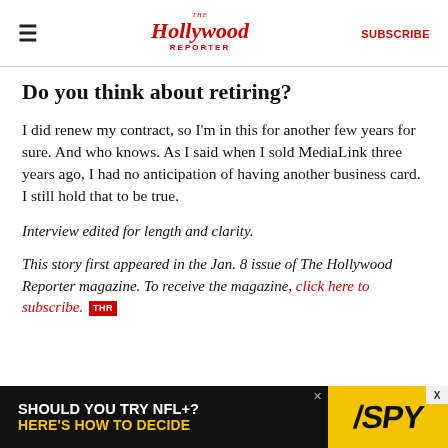≡  The Hollywood Reporter  SUBSCRIBE
Do you think about retiring?
I did renew my contract, so I'm in this for another few years for sure. And who knows. As I said when I sold MediaLink three years ago, I had no anticipation of having another business card. I still hold that to be true.
Interview edited for length and clarity.
This story first appeared in the Jan. 8 issue of The Hollywood Reporter magazine. To receive the magazine, click here to subscribe. THR
[Figure (other): Advertisement banner: 'SHOULD YOU TRY NFL+? HERE'S HOW TO DECIDE' with SPY logo on yellow background]